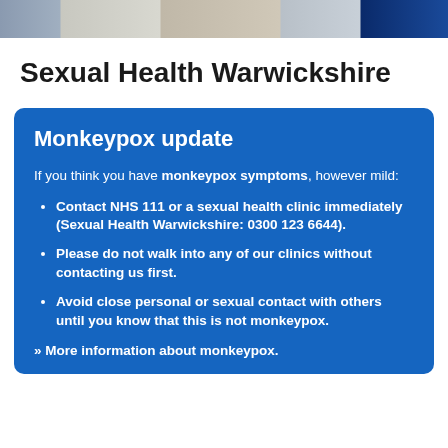[Figure (photo): Horizontal photo strip showing partial images of a medical/clinical setting]
Sexual Health Warwickshire
Monkeypox update
If you think you have monkeypox symptoms, however mild:
Contact NHS 111 or a sexual health clinic immediately (Sexual Health Warwickshire: 0300 123 6644).
Please do not walk into any of our clinics without contacting us first.
Avoid close personal or sexual contact with others until you know that this is not monkeypox.
» More information about monkeypox.